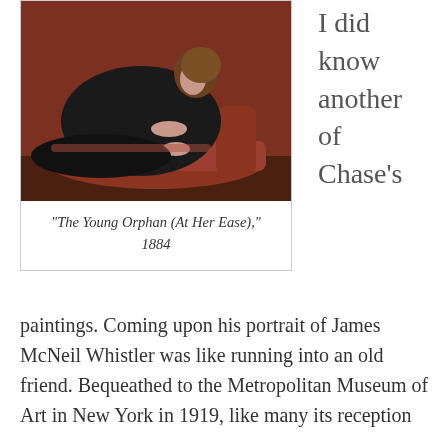[Figure (photo): Painting of a young woman reclining on a red chaise lounge, dressed in black, with reddish-brown background. Oil painting style.]
“The Young Orphan (At Her Ease),” 1884
I did know another of Chase’s
paintings. Coming upon his portrait of James McNeil Whistler was like running into an old friend. Bequeathed to the Metropolitan Museum of Art in New York in 1919, like many its reception